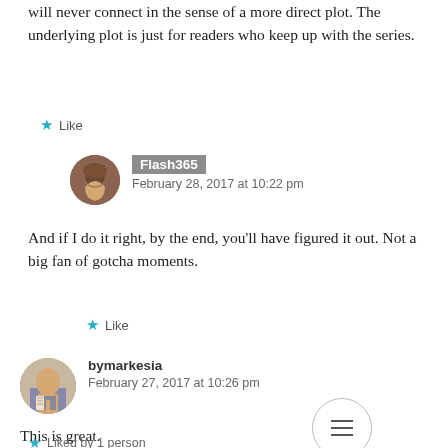will never connect in the sense of a more direct plot. The underlying plot is just for readers who keep up with the series.
Like
Flash365
February 28, 2017 at 10:22 pm
And if I do it right, by the end, you’ll have figured it out. Not a big fan of gotcha moments.
Like
bymarkesia
February 27, 2017 at 10:26 pm
This is great.
Liked by 1 person